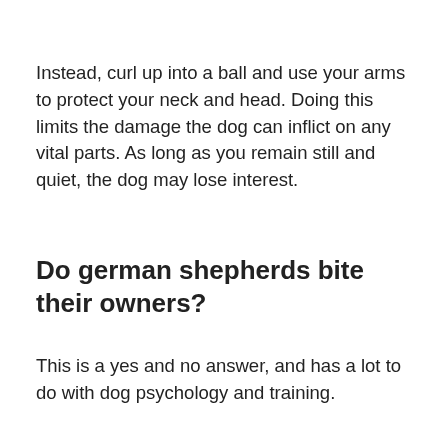Instead, curl up into a ball and use your arms to protect your neck and head. Doing this limits the damage the dog can inflict on any vital parts. As long as you remain still and quiet, the dog may lose interest.
Do german shepherds bite their owners?
This is a yes and no answer, and has a lot to do with dog psychology and training.